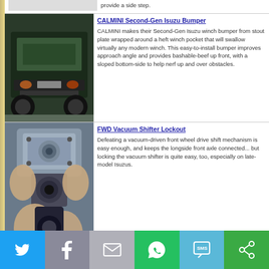provide a side step.
[Figure (photo): Rear view of a dark green Isuzu SUV with an aftermarket bumper, parked outdoors]
CALMINI Second-Gen Isuzu Bumper
CALMINI makes their Second-Gen Isuzu winch bumper from stout plate wrapped around a heft winch pocket that will swallow virtually any modern winch. This easy-to-install bumper improves approach angle and provides bashable-beef up front, with a sloped bottom-side to help nerf up and over obstacles.
[Figure (photo): Hands holding a metal FWD vacuum shifter lockout mechanism, showing the bracket and lower hub assembly]
FWD Vacuum Shifter Lockout
Defeating a vacuum-driven front wheel drive shift mechanism is easy enough, and keeps the longside front axle connected... but locking the vacuum shifter is quite easy, too, especially on late-model Isuzus.
[Figure (other): Social sharing bar with Twitter, Facebook, Email, WhatsApp, SMS, and Share buttons]